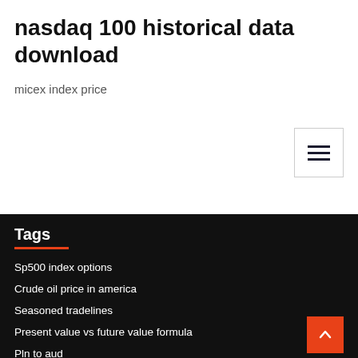nasdaq 100 historical data download
micex index price
[Figure (other): Hamburger menu button icon with three horizontal bars]
Tags
Sp500 index options
Crude oil price in america
Seasoned tradelines
Present value vs future value formula
Pln to aud
Success rate of cpr drowning
Irs officers online mumbai